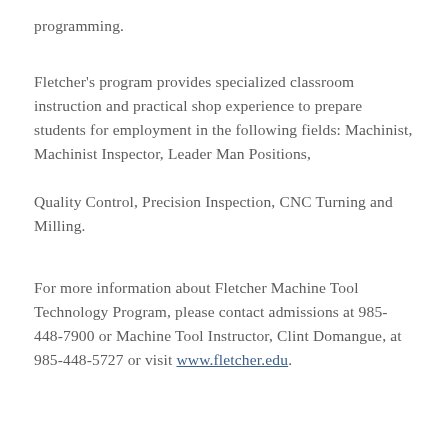programming.
Fletcher’s program provides specialized classroom instruction and practical shop experience to prepare students for employment in the following fields: Machinist, Machinist Inspector, Leader Man Positions, Quality Control, Precision Inspection, CNC Turning and Milling.
For more information about Fletcher Machine Tool Technology Program, please contact admissions at 985-448-7900 or Machine Tool Instructor, Clint Domangue, at 985-448-5727 or visit www.fletcher.edu.